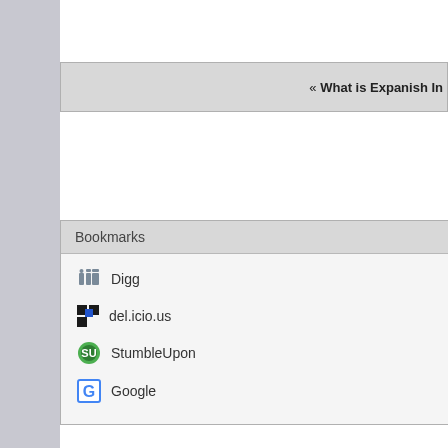« What is Expanish In...
Bookmarks
Digg
del.icio.us
StumbleUpon
Google
All times a  Pow  Copyright © 202...  © 2004-2011 T...